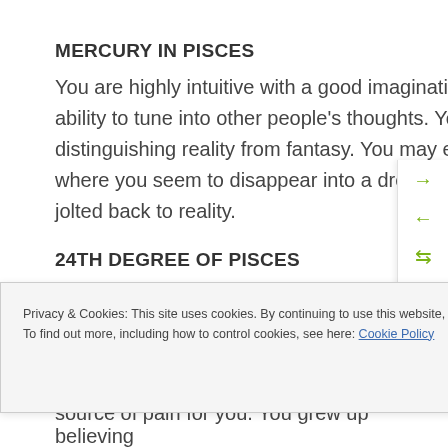MERCURY IN PISCES
You are highly intuitive with a good imagination. You have the ability to tune into other people's thoughts. You may have difficulty distinguishing reality from fantasy. You may experience periods where you seem to disappear into a dream world before being jolted back to reality.
24TH DEGREE OF PISCES
Part of Body: Right distal tibio-fibular joint
Privacy & Cookies: This site uses cookies. By continuing to use this website, you agree to their use.
To find out more, including how to control cookies, see here: Cookie Policy
source of pain for you. You grew up believing